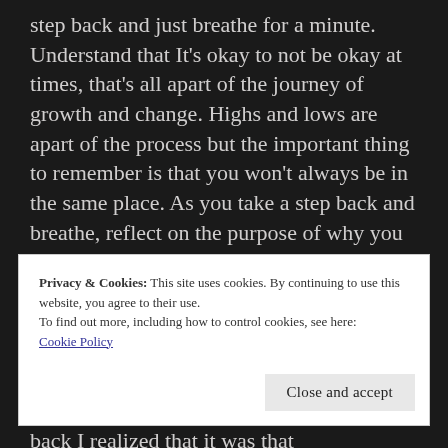step back and just breathe for a minute. Understand that It's okay to not be okay at times, that's all apart of the journey of growth and change. Highs and lows are apart of the process but the important thing to remember is that you won't always be in the same place. As you take a step back and breathe, reflect on the purpose of why you started and allow it to shift your perspective and give you the motivation you need to push forward. The process won't always be easy but if you keep showing up it will be so worth it.
Privacy & Cookies: This site uses cookies. By continuing to use this website, you agree to their use.
To find out more, including how to control cookies, see here:
Cookie Policy
Close and accept
back I realized that it was that discouragement